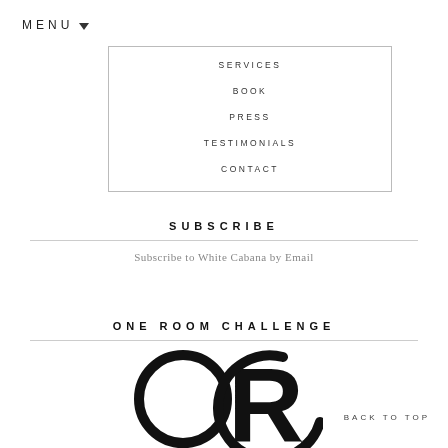MENU
SERVICES
BOOK
PRESS
TESTIMONIALS
CONTACT
SUBSCRIBE
Subscribe to White Cabana by Email
ONE ROOM CHALLENGE
[Figure (logo): ORC One Room Challenge logo — large circular ORC letters with 'ONE ROOM CHALLENGE' text below]
BACK TO TOP